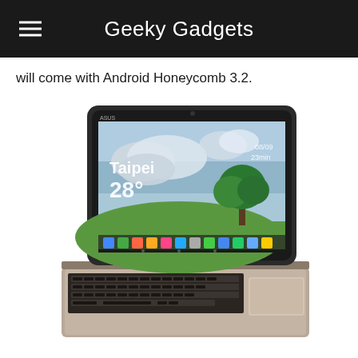Geeky Gadgets
will come with Android Honeycomb 3.2.
[Figure (photo): ASUS Transformer tablet with keyboard dock. The tablet displays a home screen showing 'Taipei' weather (28 degrees), a tree on a green hill background, and Android app icons. The tablet is connected to a laptop-style keyboard dock with a trackpad.]